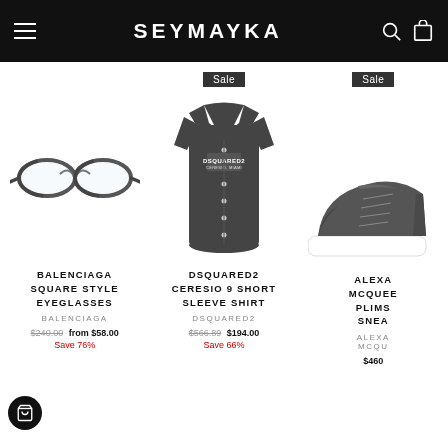SEYMAYKA
[Figure (photo): Balenciaga square style eyeglasses product image]
BALENCIAGA SQUARE STYLE EYEGLASSES
BALENCIAGA
$240.00 from $58.00 Save 76%
[Figure (photo): Dsquared2 Ceresio 9 short sleeve shirt, dark grey with logo]
DSQUARED2 CERESIO 9 SHORT SLEEVE SHIRT
DSQUARED2
$566.89 $194.00 Save 66%
[Figure (photo): Alexander McQueen Plimsoll sneaker, partially visible]
ALEXANDER MCQUEEN PLIMSOLL SNEAKER
ALEXANDER MCQUEEN
$460